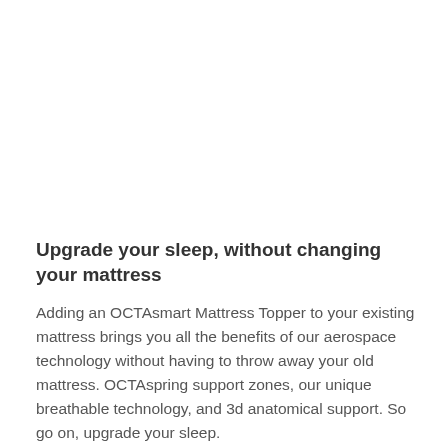Upgrade your sleep, without changing your mattress
Adding an OCTAsmart Mattress Topper to your existing mattress brings you all the benefits of our aerospace technology without having to throw away your old mattress. OCTAspring support zones, our unique breathable technology, and 3d anatomical support. So go on, upgrade your sleep.